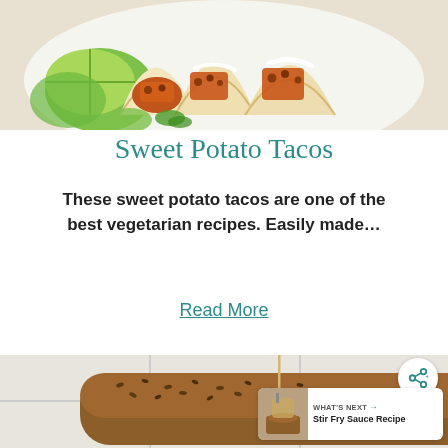[Figure (photo): Photo of sweet potato tacos on a white plate with lime wedges and cilantro, three tacos with orange sweet potato filling, black beans, and white sauce]
Sweet Potato Tacos
These sweet potato tacos are one of the best vegetarian recipes. Easily made…
Read More
[Figure (photo): Photo of a seeded loaf of bread with a skewer or toothpick in it, on a white tile surface, partially visible; overlay shows share button and 'What's Next: Stir Fry Sauce Recipe' panel]